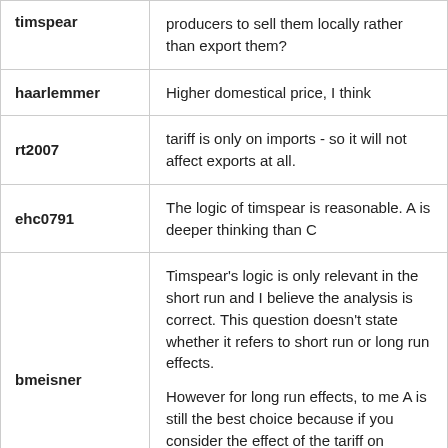| username | message |
| --- | --- |
| timspear | producers to sell them locally rather than export them? |
| haarlemmer | Higher domestical price, I think |
| rt2007 | tariff is only on imports - so it will not affect exports at all. |
| ehc0791 | The logic of timspear is reasonable. A is deeper thinking than C |
| bmeisner | Timspear's logic is only relevant in the short run and I believe the analysis is correct. This question doesn't state whether it refers to short run or long run effects.

However for long run effects, to me A is still the best choice because if you consider the effect of the tariff on international prices it should lower prices because of decreased |